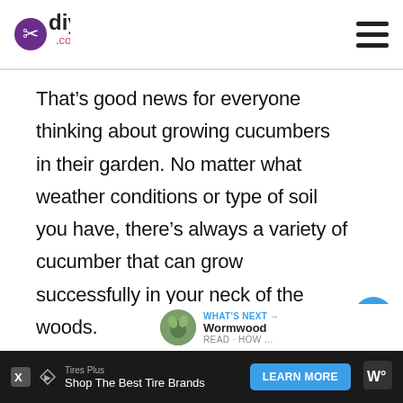diys.com
That’s good news for everyone thinking about growing cucumbers in their garden. No matter what weather conditions or type of soil you have, there’s always a variety of cucumber that can grow successfully in your neck of the woods.
[Figure (infographic): Like button (heart icon, blue circle) with count of 1, and share button (white circle with share icon)]
[Figure (infographic): WHAT'S NEXT arrow label in blue, thumbnail of Wormwood plant, text 'Wormwood']
[Figure (infographic): Advertisement bar at bottom: Tires Plus - Shop The Best Tire Brands - LEARN MORE button]